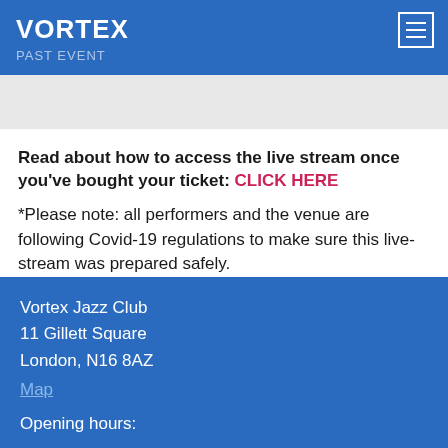VORTEX
PAST EVENT
Read about how to access the live stream once you've bought your ticket: CLICK HERE
*Please note: all performers and the venue are following Covid-19 regulations to make sure this live-stream was prepared safely.
Vortex Jazz Club
11 Gillett Square
London, N16 8AZ
Map

Opening hours: